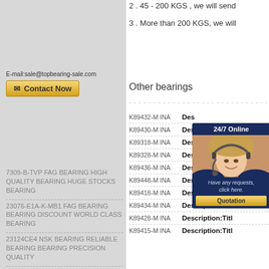2 . 45 - 200 KGS , we will send
3 . More than 200 KGS, we will
E-mail:sale@topbearing-sale.com
[Figure (other): Contact Now button with envelope icon]
7309-B-TVP FAG BEARING HIGH QUALITY BEARING HUGE STOCKS BEARING
23076-E1A-K-MB1 FAG BEARING BEARING DISCOUNT WORLD CLASS BEARING
23124CE4 NSK BEARING RELIABLE BEARING BEARING PRECISION QUALITY
6000DDU SINGLE-ROW DEEP GROOVE BALL BEARING DDU 6000
15578/15523 HIGH PERFORMANCE LOW PRICE
Other bearings
K89432-M INA   Description:Titl
K89430-M INA   Description:Titl
K89318-M INA   Description:Titl
K89328-M INA   Description:Titl
K89436-M INA   Description:Titl
K89448-M INA   Description:Titl
K89418-M INA   Description:Titl
K89434-M INA   Description:Titl
K89428-M INA   Description:Titl
K89415-M INA   Description:Titl